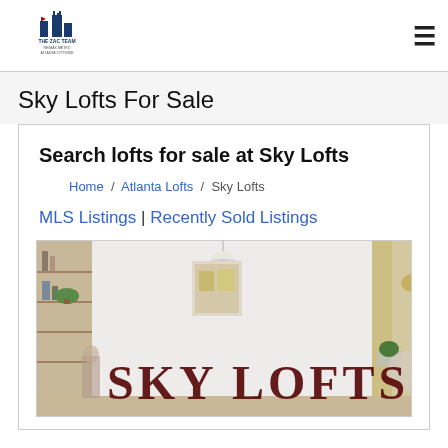The Zac Team RE/MAX Metro Atlanta Citywide
Sky Lofts For Sale
Search lofts for sale at Sky Lofts
Home / Atlanta Lofts / Sky Lofts
MLS Listings | Recently Sold Listings
[Figure (photo): Interior loft photo with 'SKY LOFTS' text overlay in dark red letters, showing a bright open loft space with pendant lamp, bookshelf, plant, artwork, and dining area]